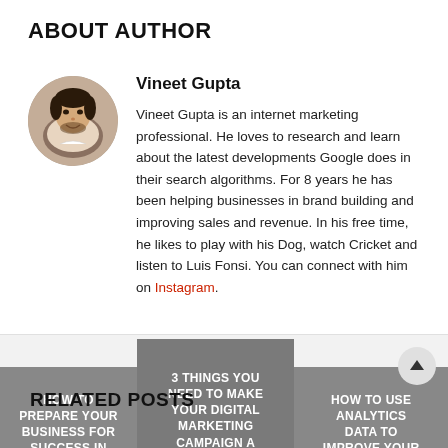ABOUT AUTHOR
Vineet Gupta
[Figure (photo): Circular profile photo of Vineet Gupta, a young man with dark hair and beard, smiling.]
Vineet Gupta is an internet marketing professional. He loves to research and learn about the latest developments Google does in their search algorithms. For 8 years he has been helping businesses in brand building and improving sales and revenue. In his free time, he likes to play with his Dog, watch Cricket and listen to Luis Fonsi. You can connect with him on Instagram.
RELATED POSTS
HOW TO PREPARE YOUR BUSINESS FOR SUCCESS IN 2022
3 THINGS YOU NEED TO MAKE YOUR DIGITAL MARKETING CAMPAIGN A SUCCESS
HOW TO USE ANALYTICS DATA TO IMPROVE YOUR WEBSITE?